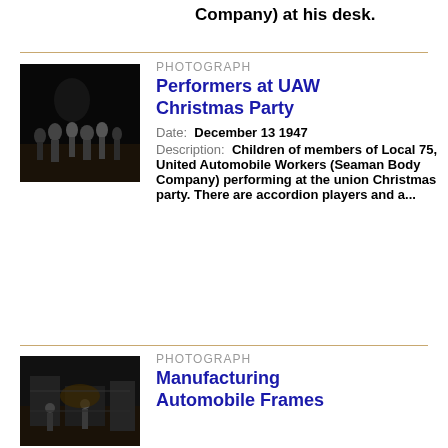Company) at his desk.
[Figure (photo): Black and white photograph of performers at UAW Christmas Party, group of people on stage]
PHOTOGRAPH
Performers at UAW Christmas Party
Date: December 13 1947
Description: Children of members of Local 75, United Automobile Workers (Seaman Body Company) performing at the union Christmas party. There are accordion players and a...
[Figure (photo): Black and white photograph of manufacturing automobile frames, workers on factory floor]
PHOTOGRAPH
Manufacturing Automobile Frames